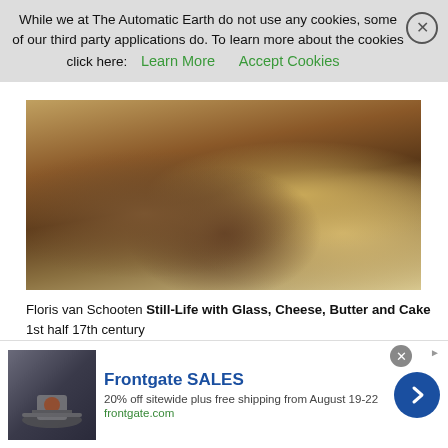While we at The Automatic Earth do not use any cookies, some of our third party applications do. To learn more about the cookies click here: Learn More   Accept Cookies
[Figure (photo): A detail of a Dutch Golden Age still-life painting showing cheese, butter, a glass, and a cake on a table with a pewter plate and a dark column-shaped object in the center.]
Floris van Schooten Still-Life with Glass, Cheese, Butter and Cake 1st half 17th century
Assange Lawyers Barred From Visiting Client Ahead Of US Court Hearing (ZH)
'He Has Moved Incredibly Quickly': Mueller Nears Trump Endgame (G.)
One Of The Most Spectacularly Misleading Uses Of Statistics Ever (Porter)
[Figure (photo): Advertisement for Frontgate SALES: 20% off sitewide plus free shipping from August 19-22. Shows outdoor furniture with a fire pit. frontgate.com]
Frontgate SALES
20% off sitewide plus free shipping from August 19-22
frontgate.com